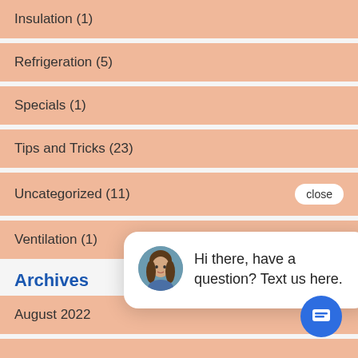Insulation (1)
Refrigeration (5)
Specials (1)
Tips and Tricks (23)
Uncategorized (11)
Ventilation (1)
Archives
August 2022
[Figure (screenshot): Chat popup with avatar of a woman with long brown hair and text: Hi there, have a question? Text us here. A blue circular chat button is visible at bottom right.]